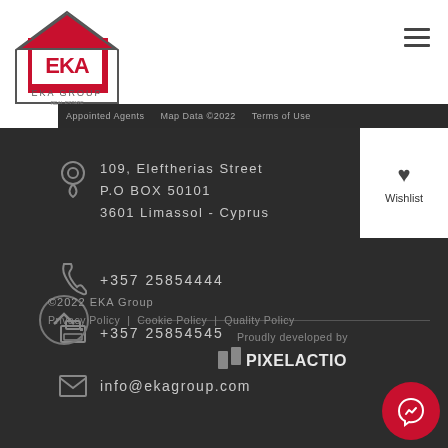[Figure (logo): EKA Group logo - house shape with EKA text]
EKA Group website navigation header with hamburger menu
109, Eleftherias Street
P.O BOX 50101
3601 Limassol - Cyprus
+357 25854444
+357 25854545
info@ekagroup.com
©2022 EKA Group
Privacy Policy | Cookie Policy | Quality Policy
Proudly developed by
PIXELACTIONS